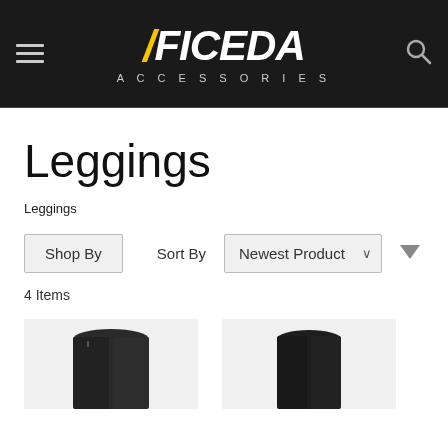[Figure (screenshot): FICEDA Accessories website header with hamburger menu, logo, and search icon on dark background]
Leggings
Leggings
Shop By   Sort By   Newest Product
4 Items
[Figure (photo): Two partial product thumbnail images of black leggings at bottom of page]